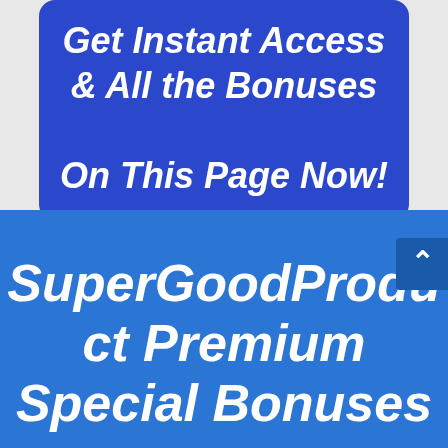& All the Bonuses On This Page Now!
SuperGoodProduct Premium Special Bonuses